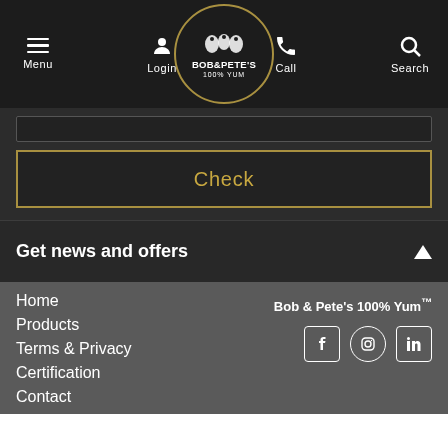[Figure (screenshot): Navigation header with hamburger menu, login icon, Bob & Pete's 100% Yum logo, call and search icons on dark background]
[Figure (screenshot): Check button with golden border on dark textured background]
Get news and offers
Home
Products
Terms & Privacy
Certification
Contact
Bob & Pete's 100% Yum™
[Figure (illustration): Social media icons: Facebook, Instagram, LinkedIn]